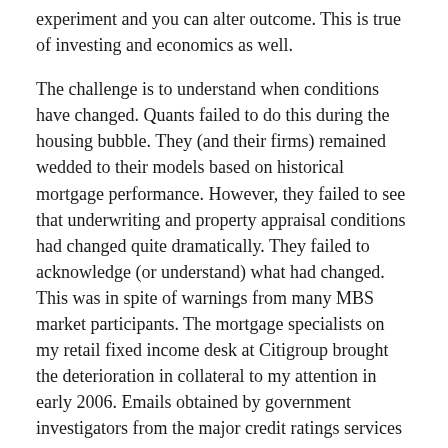experiment and you can alter outcome. This is true of investing and economics as well.
The challenge is to understand when conditions have changed. Quants failed to do this during the housing bubble. They (and their firms) remained wedded to their models based on historical mortgage performance. However, they failed to see that underwriting and property appraisal conditions had changed quite dramatically. They failed to acknowledge (or understand) what had changed. This was in spite of warnings from many MBS market participants. The mortgage specialists on my retail fixed income desk at Citigroup brought the deterioration in collateral to my attention in early 2006. Emails obtained by government investigators from the major credit ratings services indicated that analysts were aware that the quality of MBS collateral was deteriorating (but still assigned AAA ratings to many impaired